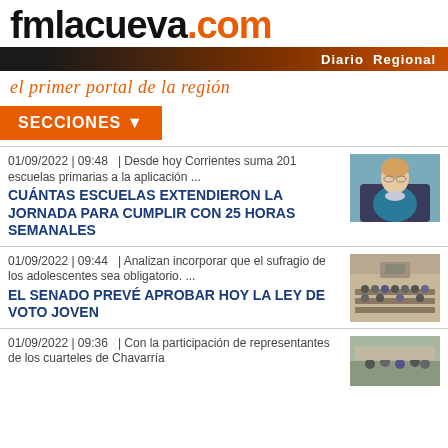fmlacueva.com — Diario Regional — el primer portal de la región
SECCIONES ▼
01/09/2022 | 09:48  | Desde hoy Corrientes suma 201 escuelas primarias a la aplicación ...
CUÁNTAS ESCUELAS EXTENDIERON LA JORNADA PARA CUMPLIR CON 25 HORAS SEMANALES
[Figure (photo): Photo of a woman in a teal jacket seated in a formal chair]
01/09/2022 | 09:44  | Analizan incorporar que el sufragio de los adolescentes sea obligatorio. ...
EL SENADO PREVÉ APROBAR HOY LA LEY DE VOTO JOVEN
[Figure (photo): Photo of a legislative chamber session with many people seated]
01/09/2022 | 09:36  | Con la participación de representantes de los cuarteles de Chavarría
[Figure (photo): Photo of people gathered at an outdoor or indoor event]